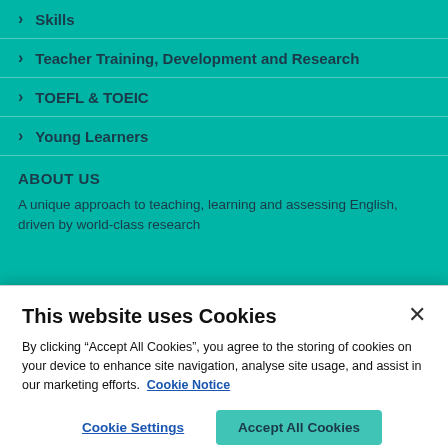Skills
Teacher Training, Development and Research
TOEFL & TOEIC
Young Learners
ABOUT US
A unique approach to teaching, learning and assessing English, driven by world-class research
This website uses Cookies
By clicking “Accept All Cookies”, you agree to the storing of cookies on your device to enhance site navigation, analyse site usage, and assist in our marketing efforts.  Cookie Notice
Cookie Settings
Accept All Cookies